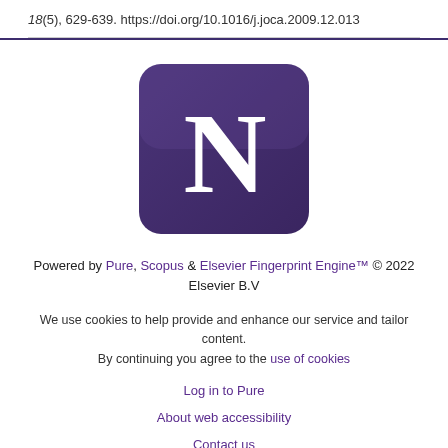18(5), 629-639. https://doi.org/10.1016/j.joca.2009.12.013
[Figure (logo): Northwestern University 'N' logo — white N on purple/dark-violet rounded square background]
Powered by Pure, Scopus & Elsevier Fingerprint Engine™ © 2022 Elsevier B.V
We use cookies to help provide and enhance our service and tailor content. By continuing you agree to the use of cookies
Log in to Pure
About web accessibility
Contact us